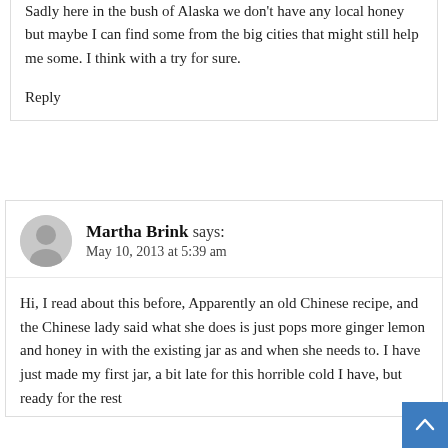Sadly here in the bush of Alaska we don't have any local honey but maybe I can find some from the big cities that might still help me some. I think with a try for sure.
Reply
Martha Brink says:
May 10, 2013 at 5:39 am
Hi, I read about this before, Apparently an old Chinese recipe, and the Chinese lady said what she does is just pops more ginger lemon and honey in with the existing jar as and when she needs to. I have just made my first jar, a bit late for this horrible cold I have, but ready for the rest